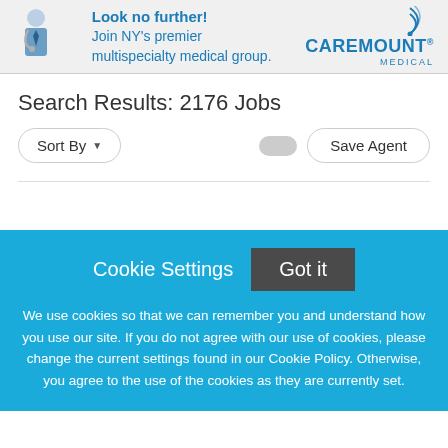[Figure (illustration): CareMount Medical advertisement banner: doctor icon on left with text 'Look no further! Join NY's premier multispecialty medical group.' and CareMount Medical logo on right]
Search Results: 2176 Jobs
Sort By  [toggle]  Save Agent
Cookie Settings  Got it

We use cookies so that we can remember you and understand how you use our site. If you do not agree with our use of cookies, please change the current settings found in our Cookie Policy. Otherwise, you agree to the use of the cookies as they are currently set.